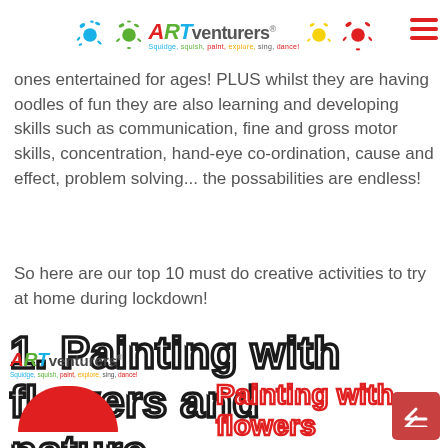ARTventurers logo with paint splashes
ones entertained for ages! PLUS whilst they are having oodles of fun they are also learning and developing skills such as communication, fine and gross motor skills, concentration, hand-eye co-ordination, cause and effect, problem solving... the possabilities are endless!
So here are our top 10 must do creative activities to try at home during lockdown!
1. Painting with flowers and nature
[Figure (logo): ARTventurers logo at bottom left with red semicircle below]
Painting with flowers